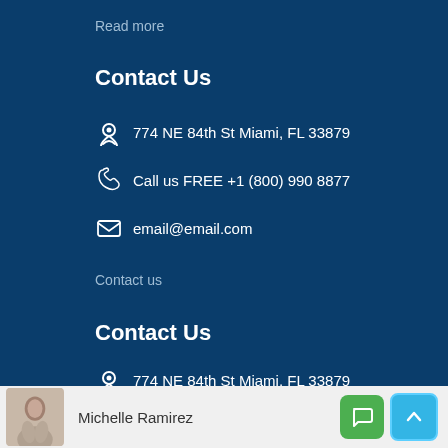Read more
Contact Us
774 NE 84th St Miami, FL 33879
Call us FREE +1 (800) 990 8877
email@email.com
Contact us
Contact Us
774 NE 84th St Miami, FL 33879
Michelle Ramirez